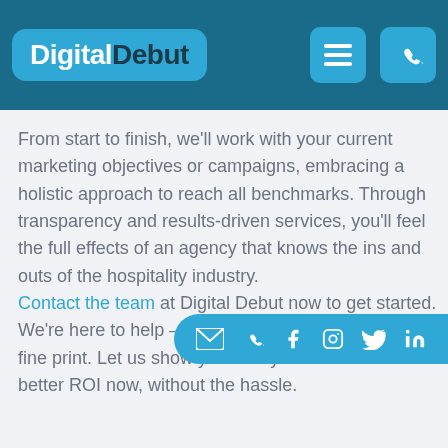[Figure (logo): Digital Debut logo with navigation hamburger and phone icons on dark teal header]
From start to finish, we'll work with your current marketing objectives or campaigns, embracing a holistic approach to reach all benchmarks. Through transparency and results-driven services, you'll feel the full effects of an agency that knows the ins and outs of the hospitality industry.
Contact the team at Digital Debut now to get started. We're here to help – no catches, no obligations, no fine print. Let us show you how your venue can see a better ROI now, without the hassle.
[Figure (infographic): Social media icon bar with email, phone, Facebook, Instagram, Twitter, and LinkedIn icons on a rounded blue pill shape]